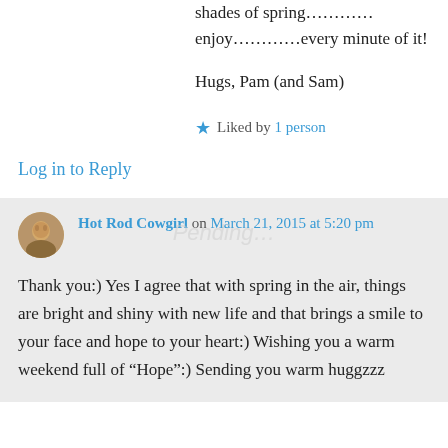shades of spring…………enjoy…………every minute of it!
Hugs, Pam (and Sam)
★ Liked by 1 person
Log in to Reply
Hot Rod Cowgirl on March 21, 2015 at 5:20 pm
Thank you:) Yes I agree that with spring in the air, things are bright and shiny with new life and that brings a smile to your face and hope to your heart:) Wishing you a warm weekend full of “Hope”:) Sending you warm huggzzz